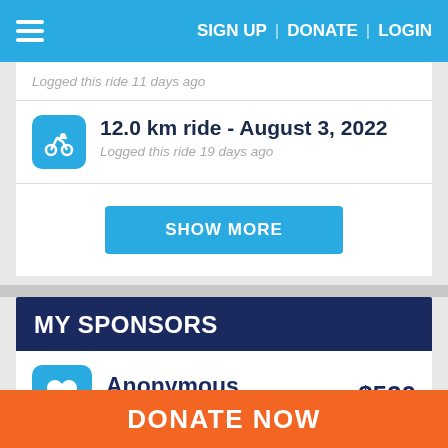SIGN UP | DONATE | LOGIN
Logged this ride 11 days ago
12.0 km ride - August 3, 2022
Logged this ride 19 days ago
SHOW MORE
MY SPONSORS
Anonymous $520
Received this donation 81 days ago
DONATE NOW